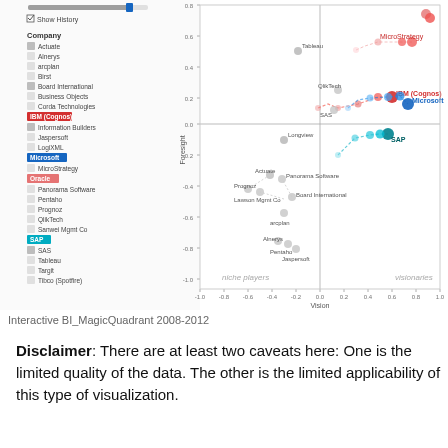[Figure (scatter-plot): Scatter plot / magic quadrant showing various BI companies plotted on Vision (x-axis, -1.0 to 1.0) vs Foresight/Execution (y-axis, -1.0 to 0.8) axes, with trajectory lines showing movement from 2008-2012. Highlighted companies include IBM (Cognos) in red, Microsoft in blue, SAP in cyan, and Oracle in pink. Other companies visible: Tableau, MicroStrategy, QlikTech, SAP, Actuate, Panorama Software, Prognoz, Lawson Mgmt Co, Arcplan, Alnerys, Pentaho, Jaspersoft, Board International, Information Builders, Longview, Targit, Tibco (Spotfire), LogiXML.]
Interactive BI_MagicQuadrant 2008-2012
Disclaimer: There are at least two caveats here: One is the limited quality of the data. The other is the limited applicability of this type of visualization.